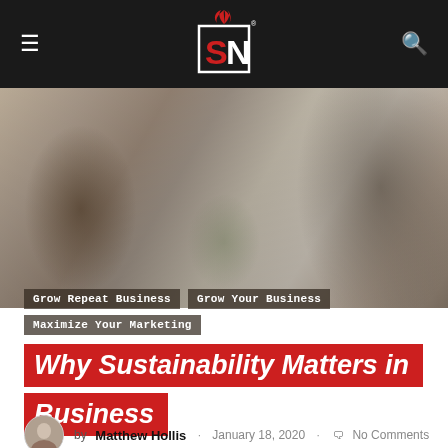SN (logo) — navigation bar with hamburger menu and search icon
[Figure (photo): Two people at a store counter exchanging a reusable shopping bag, eco/sustainability context, muted warm tones]
Grow Repeat Business
Grow Your Business
Maximize Your Marketing
Why Sustainability Matters in Business
by Matthew Hollis · January 18, 2020 · No Comments